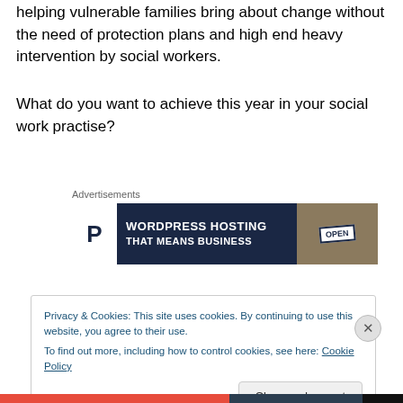helping vulnerable families bring about change without the need of protection plans and high end heavy intervention by social workers.
What do you want to achieve this year in your social work practise?
Advertisements
[Figure (other): WordPress Hosting That Means Business advertisement banner with dark blue background, P logo, and OPEN sign image on right]
Privacy & Cookies: This site uses cookies. By continuing to use this website, you agree to their use.
To find out more, including how to control cookies, see here: Cookie Policy